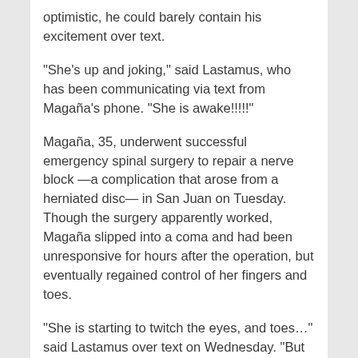optimistic, he could barely contain his excitement over text.
“She’s up and joking,” said Lastamus, who has been communicating via text from Magaña’s phone. “She is awake!!!!!”
Magaña, 35, underwent successful emergency spinal surgery to repair a nerve block —a complication that arose from a herniated disc— in San Juan on Tuesday. Though the surgery apparently worked, Magaña slipped into a coma and had been unresponsive for hours after the operation, but eventually regained control of her fingers and toes.
“She is starting to twitch the eyes, and toes…” said Lastamus over text on Wednesday. “But she doesn’t have an enzyme to break down the anasthosia.”